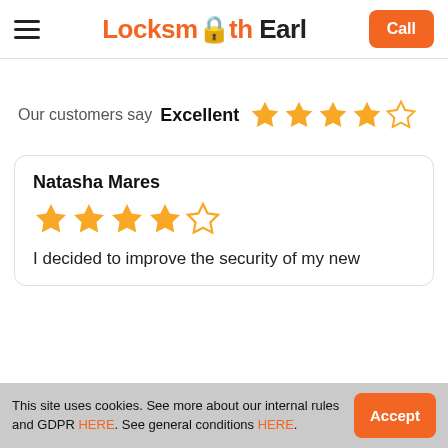Locksmith Earl | Call
Our customers say Excellent ★★★★☆
Natasha Mares
★★★★☆
I decided to improve the security of my new
This site uses cookies. See more about our internal rules and GDPR HERE. See general conditions HERE.